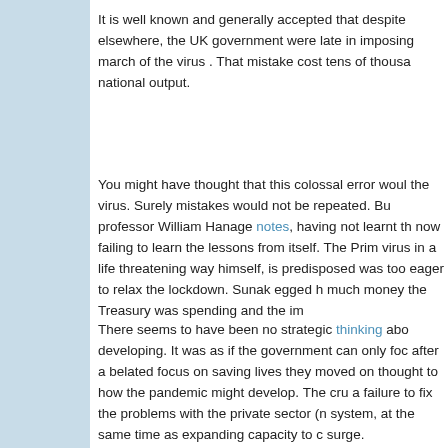It is well known and generally accepted that despite elsewhere, the UK government were late in imposing march of the virus . That mistake cost tens of thousands national output.
You might have thought that this colossal error would the virus. Surely mistakes would not be repeated. But professor William Hanage notes, having not learnt th now failing to learn the lessons from itself. The Prime virus in a life threatening way himself, is predisposed was too eager to relax the lockdown. Sunak egged h much money the Treasury was spending and the im
There seems to have been no strategic thinking abo developing. It was as if the government can only foc after a belated focus on saving lives they moved on thought to how the pandemic might develop. The cru a failure to fix the problems with the private sector (n system, at the same time as expanding capacity to c surge.